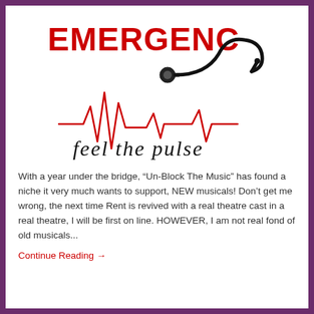[Figure (logo): EMERGENCY logo with stethoscope graphic, heartbeat/EKG line in red, and 'feel the pulse' cursive tagline below]
With a year under the bridge, “Un-Block The Music” has found a niche it very much wants to support, NEW musicals! Don’t get me wrong, the next time Rent is revived with a real theatre cast in a real theatre, I will be first on line. HOWEVER, I am not real fond of old musicals...
Continue Reading →